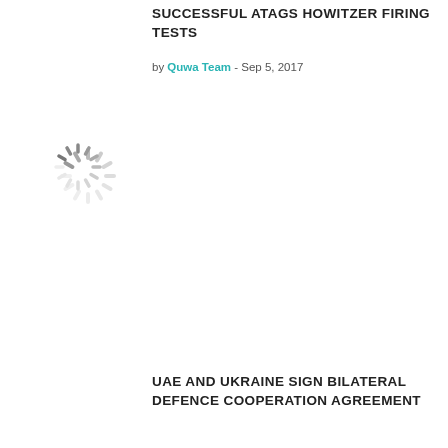SUCCESSFUL ATAGS HOWITZER FIRING TESTS
by Quwa Team - Sep 5, 2017
[Figure (other): Loading spinner / placeholder image thumbnail]
UAE AND UKRAINE SIGN BILATERAL DEFENCE COOPERATION AGREEMENT
by Quwa Team - Aug 30, 2017
[Figure (other): Loading spinner / placeholder image thumbnail]
DRDO HANDS OVER FIRST LRSAM TO INDIAN MINISTRY OF DEFENCE
by Quwa Team - Aug 30, 2017
[Figure (other): Loading spinner / placeholder image thumbnail]